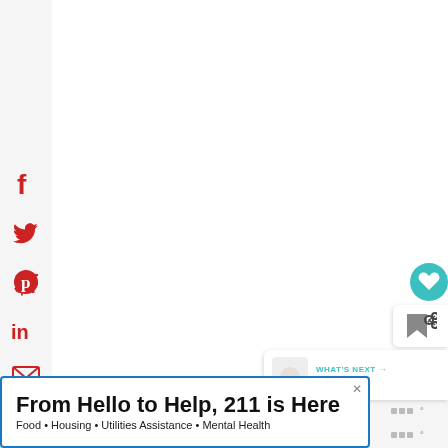[Figure (screenshot): Social media share sidebar with Facebook, Twitter, Pinterest, LinkedIn, Email, and Print icons in red on the left side of the page]
[Figure (screenshot): Teal heart/save button circle on the right side]
[Figure (screenshot): Share button with plus icon on right side]
WHAT'S NEXT → Mud Pie
From Hello to Help, 211 is Here
Food • Housing • Utilities Assistance • Mental Health